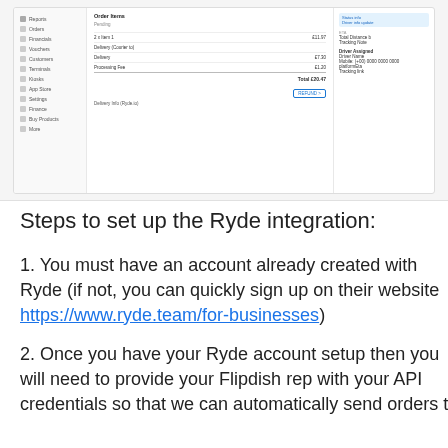[Figure (screenshot): Screenshot of a delivery order management interface showing a sidebar navigation, an order details panel with line items including subtotal, delivery, processing fee, total of £20.47, a REFUND button, and a right panel showing order status and delivery information.]
Steps to set up the Ryde integration:
1. You must have an account already created with Ryde (if not, you can quickly sign up on their website https://www.ryde.team/for-businesses)
2. Once you have your Ryde account setup then you will need to provide your Flipdish rep with your API credentials so that we can automatically send orders to